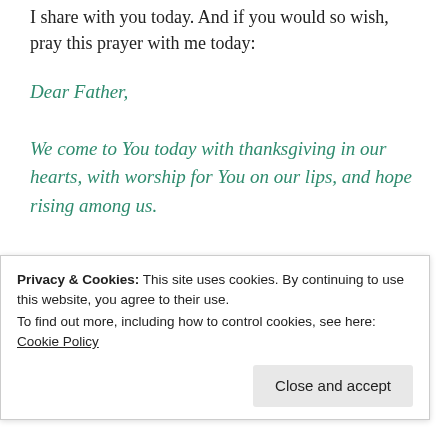I share with you today. And if you would so wish, pray this prayer with me today:
Dear Father,
We come to You today with thanksgiving in our hearts, with worship for You on our lips, and hope rising among us.
You are our light through all season, through all generations. We are in awe of You.
Privacy & Cookies: This site uses cookies. By continuing to use this website, you agree to their use.
To find out more, including how to control cookies, see here: Cookie Policy
Close and accept